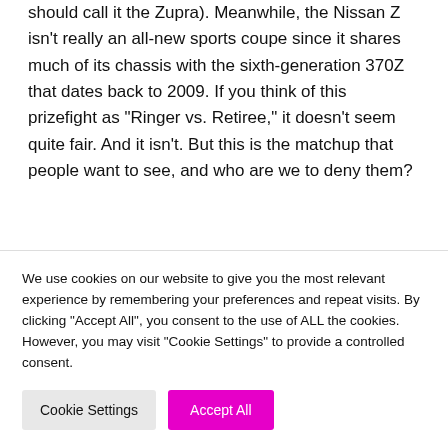should call it the Zupra). Meanwhile, the Nissan Z isn't really an all-new sports coupe since it shares much of its chassis with the sixth-generation 370Z that dates back to 2009. If you think of this prizefight as "Ringer vs. Retiree," it doesn't seem quite fair. And it isn't. But this is the matchup that people want to see, and who are we to deny them?
Related Posts:
We use cookies on our website to give you the most relevant experience by remembering your preferences and repeat visits. By clicking "Accept All", you consent to the use of ALL the cookies. However, you may visit "Cookie Settings" to provide a controlled consent.